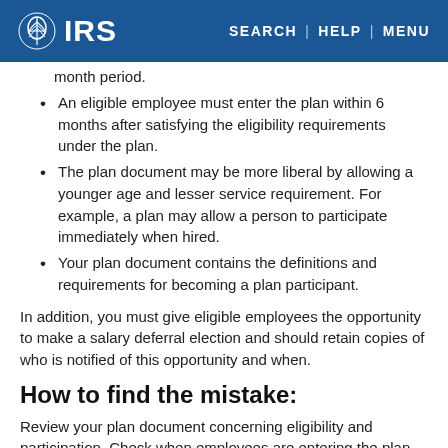IRS | SEARCH | HELP | MENU
month period.
An eligible employee must enter the plan within 6 months after satisfying the eligibility requirements under the plan.
The plan document may be more liberal by allowing a younger age and lesser service requirement. For example, a plan may allow a person to participate immediately when hired.
Your plan document contains the definitions and requirements for becoming a plan participant.
In addition, you must give eligible employees the opportunity to make a salary deferral election and should retain copies of who is notified of this opportunity and when.
How to find the mistake:
Review your plan document concerning eligibility and participation. Check when employees are entering the plan.
Make a list of all employees who received a W-2.
Compare each employee's date of hire, birth, termination